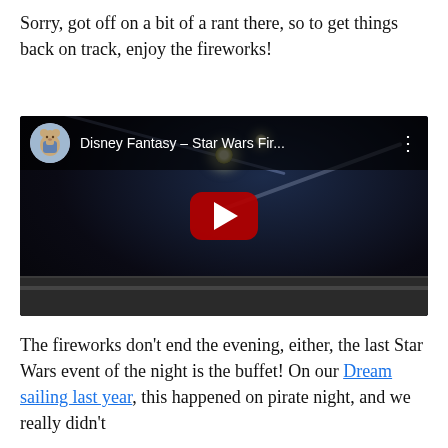Sorry, got off on a bit of a rant there, so to get things back on track, enjoy the fireworks!
[Figure (screenshot): Embedded YouTube video thumbnail showing Disney Fantasy Star Wars fireworks at night, with a dark sky, firework trails, glowing orbs, and a ship railing at the bottom. The video title bar shows 'Disney Fantasy - Star Wars Fir...' with a channel avatar.]
The fireworks don't end the evening, either, the last Star Wars event of the night is the buffet! On our Dream sailing last year, this happened on pirate night, and we really didn't